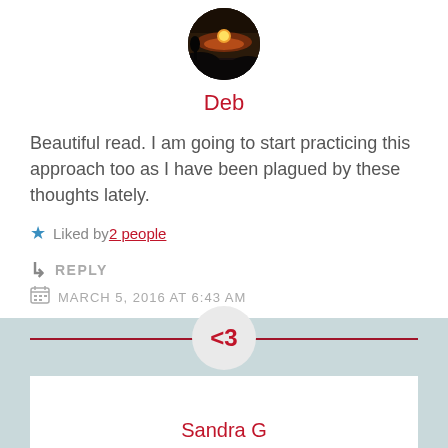[Figure (photo): Circular avatar image showing a sunset silhouette landscape]
Deb
Beautiful read. I am going to start practicing this approach too as I have been plagued by these thoughts lately.
★ Liked by 2 people
↳ REPLY
MARCH 5, 2016 AT 6:43 AM
[Figure (illustration): Heart symbol <3 in a circle above Sandra G comment section]
Sandra G